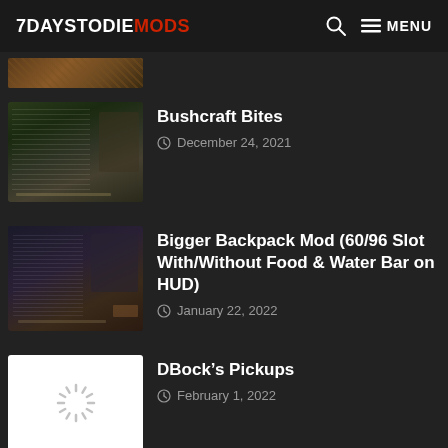7DAYSTODIEMODS — MENU
[Figure (photo): Partial thumbnail of a mod listing at the top of the page, cropped]
Bushcraft Bites
December 24, 2021
Bigger Backpack Mod (60/96 Slot With/Without Food & Water Bar on HUD)
January 22, 2022
DBock's Pickups
February 1, 2022